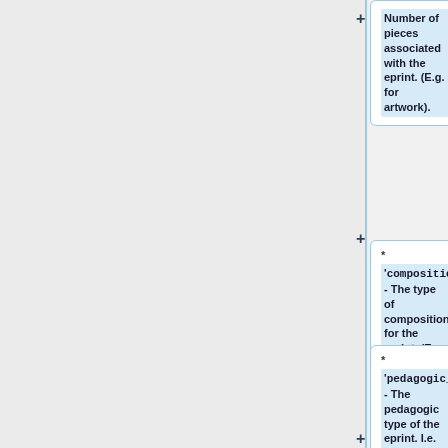Number of pieces associated with the eprint. (E.g. for artwork).
'<code>composition_type</code>' - The type of composition for the eprint. (E.g. for musical/artistic works).
'<code>pedagogic_type</code>' - The pedagogic type of the eprint. I.e. how it is it presented/taught